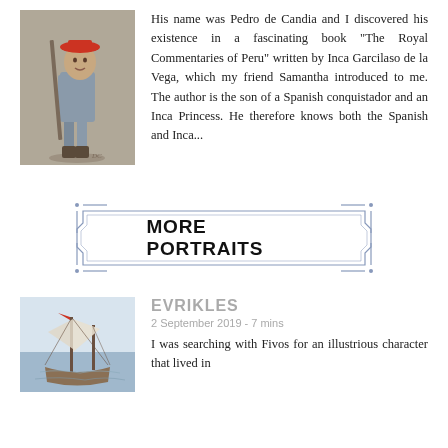[Figure (illustration): Painting of a Spanish conquistador soldier standing, holding a long weapon, wearing a red hat and grey clothing, in a loose painterly style.]
His name was Pedro de Candia and I discovered his existence in a fascinating book “The Royal Commentaries of Peru” written by Inca Garcilaso de la Vega, which my friend Samantha introduced to me. The author is the son of a Spanish conquistador and an Inca Princess. He therefore knows both the Spanish and Inca...
[Figure (infographic): Decorative button/badge graphic with a rectangular frame with notched corners, labeled MORE PORTRAITS in bold black text.]
[Figure (illustration): Painting of a sailing ship at sea with sails and rigging, in a loose impressionistic style with blues and whites.]
EVRIKLES
2 September 2019 - 7 mins
I was searching with Fivos for an illustrious character that lived in